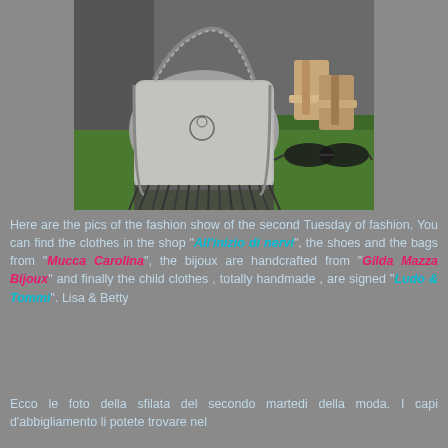[Figure (photo): Fashion show photo displaying a silver metallic chain-trimmed handbag with fringe, displayed on artificial green turf alongside shoes and sunglasses]
Here are the pics of the fashion show of the second Tuesday of fashion. You can find the clothes in the shop "All'inizio di nervi", the shoes and the bags from "Mucca Carolina", the bijoux are handcrafted from "Gilda Mazza Bijoux" and finally the child clothes , totally handmade , are signed "Ludo & Tommi". Lisa & Betty
Ecco le foto della sfilata del secondo martedi della moda. I capi d'abbigliamento li potete trovare nel